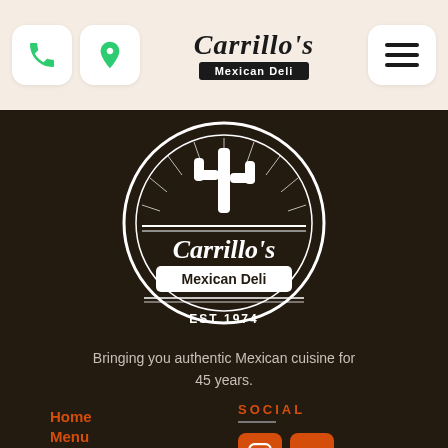[Figure (logo): Carrillo's Mexican Deli header navigation bar with phone icon, location pin icon, Carrillo's Mexican Deli logo text, and hamburger menu icon on a cream background]
[Figure (logo): Carrillo's Mexican Deli circular logo with cactus illustration, script lettering 'Carrillo's', banner 'Mexican Deli', and 'EST 1974' text on dark brown background]
Bringing you authentic Mexican cuisine for 45 years.
Home
Menu
About
SOCIAL
[Figure (logo): Instagram and Yelp social media icons as orange rounded square buttons]